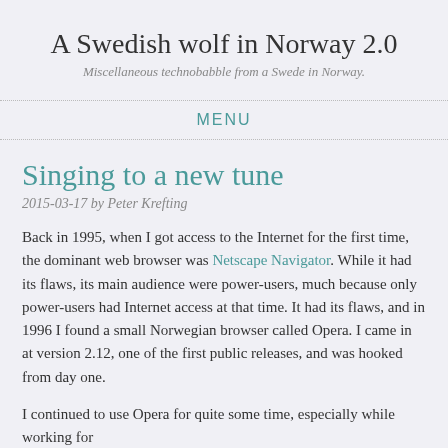A Swedish wolf in Norway 2.0
Miscellaneous technobabble from a Swede in Norway.
MENU
Singing to a new tune
2015-03-17 by Peter Krefting
Back in 1995, when I got access to the Internet for the first time, the dominant web browser was Netscape Navigator. While it had its flaws, its main audience were power-users, much because only power-users had Internet access at that time. It had its flaws, and in 1996 I found a small Norwegian browser called Opera. I came in at version 2.12, one of the first public releases, and was hooked from day one.
I continued to use Opera for quite some time, especially while working for